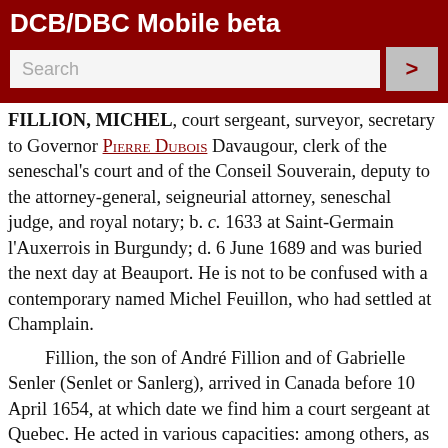DCB/DBC Mobile beta
FILLION, MICHEL, court sergeant, surveyor, secretary to Governor Pierre Dubois Davaugour, clerk of the seneschal's court and of the Conseil Souverain, deputy to the attorney-general, seigneurial attorney, seneschal judge, and royal notary; b. c. 1633 at Saint-Germain l'Auxerrois in Burgundy; d. 6 June 1689 and was buried the next day at Beauport. He is not to be confused with a contemporary named Michel Feuillon, who had settled at Champlain.
Fillion, the son of André Fillion and of Gabrielle Senler (Senlet or Sanlerg), arrived in Canada before 10 April 1654, at which date we find him a court sergeant at Quebec. He acted in various capacities: among others, as clerk of the seneschal's court in 1662, as a royal notary by commission of the Conseil Souverain dated 23 Sept. 1663, and shortly afterwards as clerk of this same